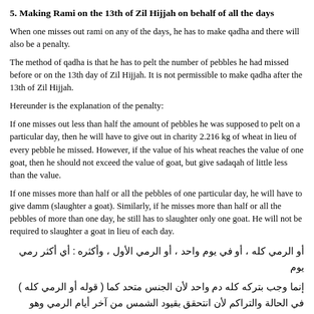5. Making Rami on the 13th of Zil Hijjah on behalf of all the days
When one misses out rami on any of the days, he has to make qadha and there will also be a penalty.
The method of qadha is that he has to pelt the number of pebbles he had missed before or on the 13th day of Zil Hijjah. It is not permissible to make qadha after the 13th of Zil Hijjah.
Hereunder is the explanation of the penalty:
If one misses out less than half the amount of pebbles he was supposed to pelt on a particular day, then he will have to give out in charity 2.216 kg of wheat in lieu of every pebble he missed. However, if the value of his wheat reaches the value of one goat, then he should not exceed the value of goat, but give sadaqah of little less than the value.
If one misses more than half or all the pebbles of one particular day, he will have to give damm (slaughter a goat). Similarly, if he misses more than half or all the pebbles of more than one day, he still has to slaughter only one goat. He will not be required to slaughter a goat in lieu of each day.
أو الرمي كله ، أو في يوم واحد ، أو الرمي الأول ، وأكثره : أي أكثر رمي يوم
إنما وجب بتركه كله دم واحد لأن الجنس متحد كما ( قوله أو الرمي كله ) في الحالة والتراكم لأن انتحقق بقيود الشمس من آخر أيام الرمي وهو